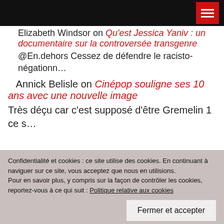[Navigation bar with hamburger menu icon]
Elizabeth Windsor on Qu'est Jessica Yaniv : un documentaire sur la controversée transgenre
@En.dehors Cessez de défendre le racisto-négationn…
Annick Belisle on Cinépop souligne ses 10 ans avec une nouvelle image
Très déçu car c'est supposé d'être Gremelin 1 ce s…
Confidentialité et cookies : ce site utilise des cookies. En continuant à naviguer sur ce site, vous acceptez que nous en utilisions.
Pour en savoir plus, y compris sur la façon de contrôler les cookies, reportez-vous à ce qui suit : Politique relative aux cookies
Fermer et accepter